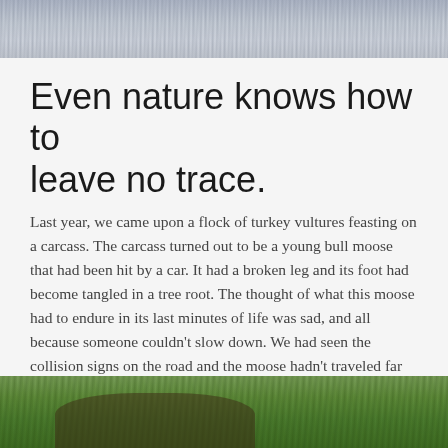[Figure (photo): Top portion of a photo showing water surface with ripples, grayish-blue tones]
Even nature knows how to leave no trace.
Last year, we came upon a flock of turkey vultures feasting on a carcass. The carcass turned out to be a young bull moose that had been hit by a car. It had a broken leg and its foot had become tangled in a tree root. The thought of what this moose had to endure in its last minutes of life was sad, and all because someone couldn't slow down. We had seen the collision signs on the road and the moose hadn't traveled far before succumbing to its injuries.
[Figure (photo): Bottom portion of a photo showing green grass and what appears to be an animal carcass or dark form on the ground]